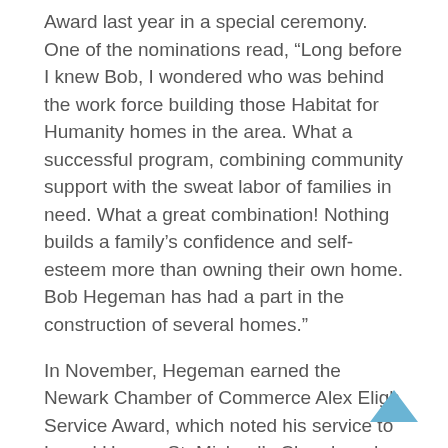Award last year in a special ceremony. One of the nominations read, “Long before I knew Bob, I wondered who was behind the work force building those Habitat for Humanity homes in the area. What a successful program, combining community support with the sweat labor of families in need. What a great combination! Nothing builds a family’s confidence and self-esteem more than owning their own home. Bob Hegeman has had a part in the construction of several homes.”
In November, Hegeman earned the Newark Chamber of Commerce Alex Eligh Service Award, which noted his service to Laurel House, St. Michael’s Church and the Boy Scouts.
Out of high school, Hegeman worked as a carpenter for Rochester Lumber. In 1968, Uncle